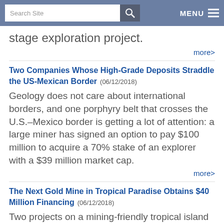Search Site | MENU
stage exploration project.
more>
Two Companies Whose High-Grade Deposits Straddle the US-Mexican Border (06/12/2018)
Geology does not care about international borders, and one porphyry belt that crosses the U.S.–Mexico border is getting a lot of attention: a large miner has signed an option to pay $100 million to acquire a 70% stake of an explorer with a $39 million market cap.
more>
The Next Gold Mine in Tropical Paradise Obtains $40 Million Financing (06/12/2018)
Two projects on a mining-friendly tropical island are moving forward, one in the final